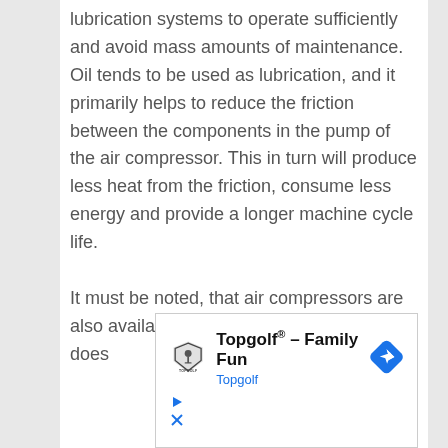lubrication systems to operate sufficiently and avoid mass amounts of maintenance. Oil tends to be used as lubrication, and it primarily helps to reduce the friction between the components in the pump of the air compressor. This in turn will produce less heat from the friction, consume less energy and provide a longer machine cycle life.
It must be noted, that air compressors are also available oilless... (or Oil-Free) this does
[Figure (infographic): Advertisement for Topgolf - Family Fun, showing Topgolf logo, text 'Topgolf® - Family Fun', 'Topgolf' in blue, a blue diamond navigation/direction icon, and ad controls (play and close buttons)]